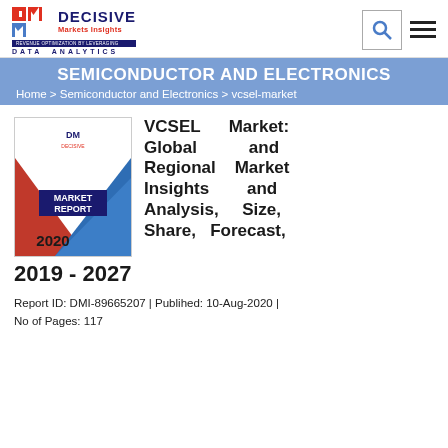DECISIVE Markets Insights | REVENUE OPTIMIZATION BY LEVERAGING DATA ANALYTICS
SEMICONDUCTOR AND ELECTRONICS
Home > Semiconductor and Electronics > vcsel-market
[Figure (illustration): Market Report 2020 book cover with DM logo, red and blue geometric shapes]
VCSEL Market: Global and Regional Market Insights and Analysis, Size, Share, Forecast, 2019 - 2027
Report ID: DMI-89665207 | Publihed: 10-Aug-2020 | No of Pages: 117